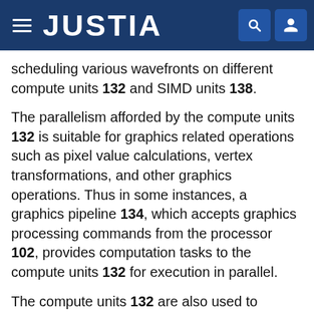JUSTIA
scheduling various wavefronts on different compute units 132 and SIMD units 138.
The parallelism afforded by the compute units 132 is suitable for graphics related operations such as pixel value calculations, vertex transformations, and other graphics operations. Thus in some instances, a graphics pipeline 134, which accepts graphics processing commands from the processor 102, provides computation tasks to the compute units 132 for execution in parallel.
The compute units 132 are also used to perform computation tasks not related to graphics or not performed as part of the “normal” operation of a graphics pipeline 134 (e.g., custom operations performed to supplement processing performed for